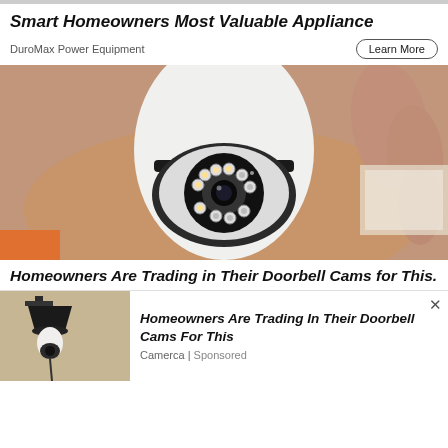Smart Homeowners Most Valuable Appliance
DuroMax Power Equipment
Learn More
[Figure (photo): A hand holding a small white PTZ security camera with LED lights around the lens, viewed from the front. The camera has a dome-like body with a rotating head. Background shows a warm-toned blurred environment.]
Homeowners Are Trading in Their Doorbell Cams for This.
[Figure (photo): An outdoor wall-mounted light fixture with a white bulb security camera installed, on a beige stucco wall. Night or low-light setting.]
Homeowners Are Trading In Their Doorbell Cams For This
Camerca | Sponsored